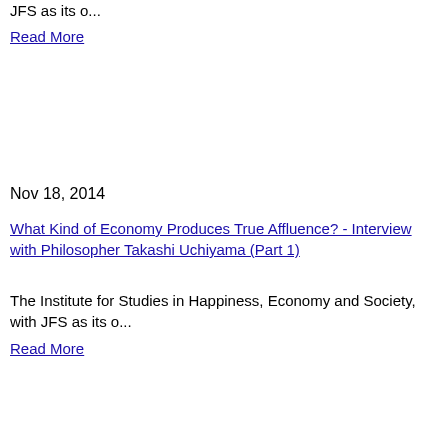JFS as its o...
Read More
Nov 18, 2014
What Kind of Economy Produces True Affluence? - Interview with Philosopher Takashi Uchiyama (Part 1)
The Institute for Studies in Happiness, Economy and Society, with JFS as its o...
Read More